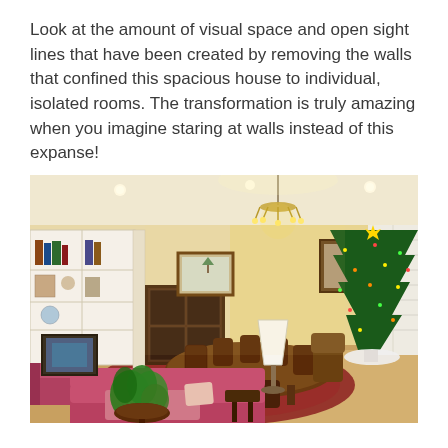Look at the amount of visual space and open sight lines that have been created by removing the walls that confined this spacious house to individual, isolated rooms. The transformation is truly amazing when you imagine staring at walls instead of this expanse!
[Figure (photo): Interior photo of a large open-plan living and dining room decorated for Christmas. Features built-in white bookshelves on the left, a dining table with chairs in the center, a chandelier overhead, a large decorated Christmas tree on the right near a window with shutters, pink/red sofas in the foreground, a red Oriental rug, and a green potted plant in the lower foreground.]